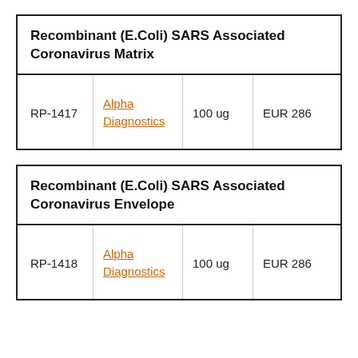| ID | Vendor | Quantity | Price |
| --- | --- | --- | --- |
| RP-1417 | Alpha Diagnostics | 100 ug | EUR 286 |
| ID | Vendor | Quantity | Price |
| --- | --- | --- | --- |
| RP-1418 | Alpha Diagnostics | 100 ug | EUR 286 |